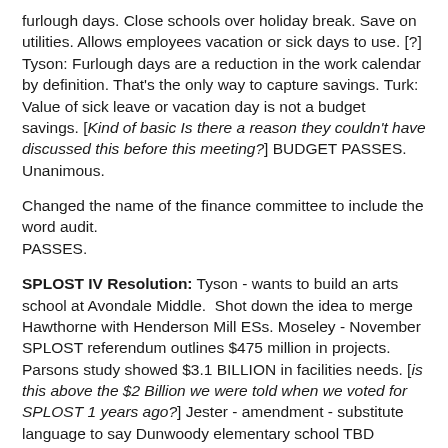furlough days. Close schools over holiday break. Save on utilities. Allows employees vacation or sick days to use. [?] Tyson: Furlough days are a reduction in the work calendar by definition. That's the only way to capture savings. Turk: Value of sick leave or vacation day is not a budget savings. [Kind of basic Is there a reason they couldn't have discussed this before this meeting?] BUDGET PASSES. Unanimous.
Changed the name of the finance committee to include the word audit.
PASSES.
SPLOST IV Resolution: Tyson - wants to build an arts school at Avondale Middle.  Shot down the idea to merge Hawthorne with Henderson Mill ESs. Moseley - November SPLOST referendum outlines $475 million in projects. Parsons study showed $3.1 BILLION in facilities needs. [is this above the $2 Billion we were told when we voted for SPLOST 1 years ago?] Jester - amendment - substitute language to say Dunwoody elementary school TBD instead of specifically naming Austin. Tyson: yield to attorneys on wording. Attorney says ok. Motion to write the language to